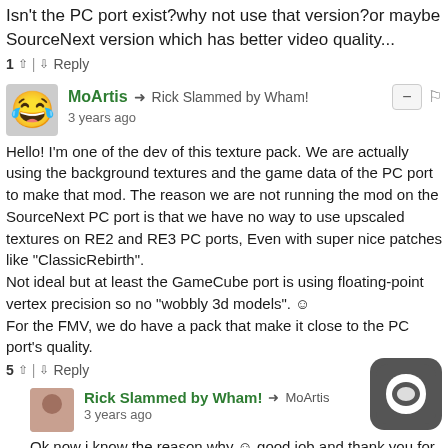Isn't the PC port exist?why not use that version?or maybe SourceNext version which has better video quality...
1 ↑ | ↓ Reply
MoArtis → Rick Slammed by Wham!
3 years ago
Hello! I'm one of the dev of this texture pack. We are actually using the background textures and the game data of the PC port to make that mod. The reason we are not running the mod on the SourceNext PC port is that we have no way to use upscaled textures on RE2 and RE3 PC ports, Even with super nice patches like "ClassicRebirth".
Not ideal but at least the GameCube port is using floating-point vertex precision so no "wobbly 3d models". ☺
For the FMV, we do have a pack that make it close to the PC port's quality.
5 ↑ | ↓ Reply
Rick Slammed by Wham! → MoArtis
3 years ago
Ok,now i know the reason why ☺ good job and thank you for making this mod, looking forward for more content... Ok,